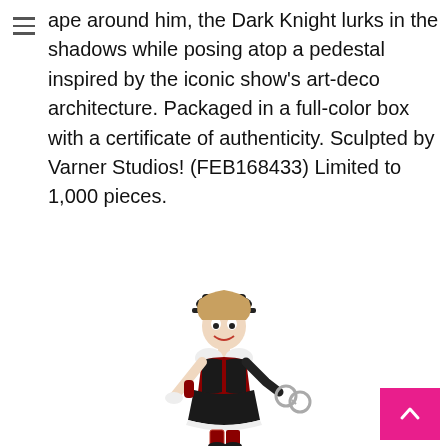ape around him, the Dark Knight lurks in the shadows while posing atop a pedestal inspired by the iconic show's art-deco architecture. Packaged in a full-color box with a certificate of authenticity. Sculpted by Varner Studios! (FEB168433) Limited to 1,000 pieces.
[Figure (photo): A collectible figure of Harley Quinn in a black and red maid-style costume with white lace trim, wearing a police hat, holding handcuffs, and wearing diamond-patterned stockings.]